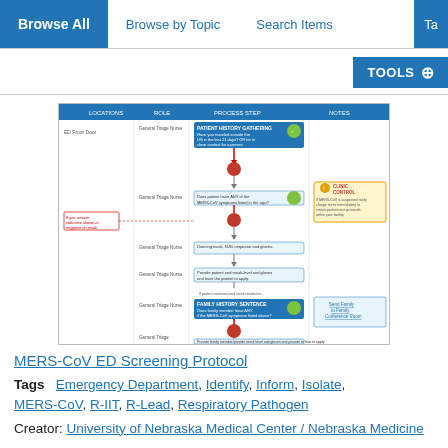Browse All  Browse by Topic  Search Items  Ta...
[Figure (flowchart): MERS-CoV ED Screening Protocol flowchart showing process steps with swim lanes for ED Front Door, General Triage Nurse, and Patient. Includes decision diamonds, colored circles (green/red/yellow), and guidance boxes on the right side. Steps include patient history gathering, MERS-CoV symptom checklist, donning mask and gloves, family history sentence, and providing healthcare worker with PPE guidance.]
MERS-CoV ED Screening Protocol
Tags   Emergency Department, Identify, Inform, Isolate, MERS-CoV, R-IIT, R-Lead, Respiratory Pathogen
Creator: University of Nebraska Medical Center / Nebraska Medicine